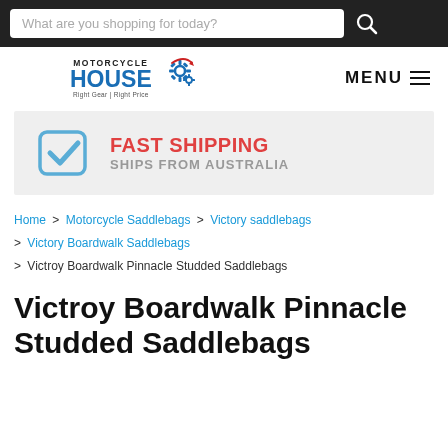What are you shopping for today?
[Figure (logo): Motorcycle House logo with gear icons and tagline Right Gear | Right Price]
[Figure (infographic): Fast Shipping - Ships from Australia banner with blue checkbox icon]
Home > Motorcycle Saddlebags > Victory saddlebags > Victory Boardwalk Saddlebags > Victroy Boardwalk Pinnacle Studded Saddlebags
Victroy Boardwalk Pinnacle Studded Saddlebags